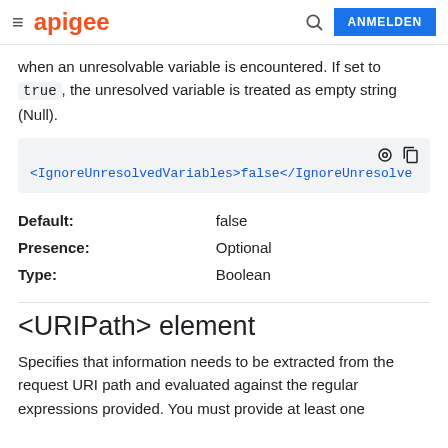apigee | ANMELDEN
when an unresolvable variable is encountered. If set to true, the unresolved variable is treated as empty string (Null).
[Figure (screenshot): Code block showing: <IgnoreUnresolvedVariables>false</IgnoreUnresolvedVariables> with dark mode and copy icons]
| Default: | false |
| Presence: | Optional |
| Type: | Boolean |
<URIPath> element
Specifies that information needs to be extracted from the request URI path and evaluated against the regular expressions provided. You must provide at least one